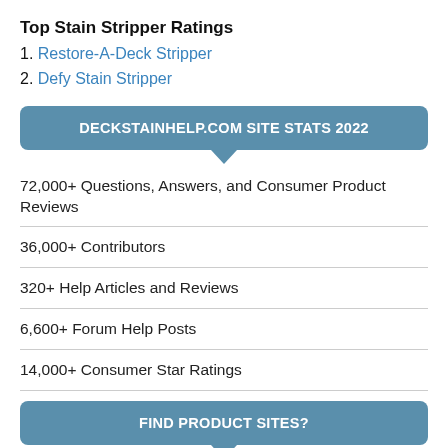Top Stain Stripper Ratings
1. Restore-A-Deck Stripper
2. Defy Stain Stripper
DECKSTAINHELP.COM SITE STATS 2022
72,000+ Questions, Answers, and Consumer Product Reviews
36,000+ Contributors
320+ Help Articles and Reviews
6,600+ Forum Help Posts
14,000+ Consumer Star Ratings
FIND PRODUCT SITES?